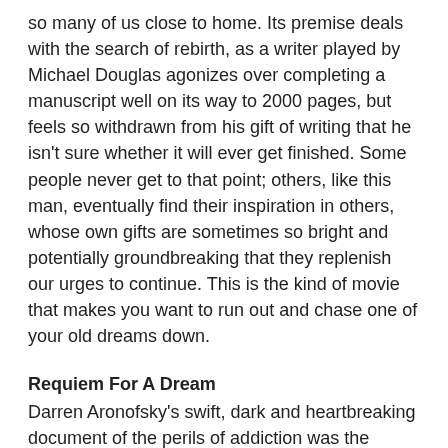so many of us close to home. Its premise deals with the search of rebirth, as a writer played by Michael Douglas agonizes over completing a manuscript well on its way to 2000 pages, but feels so withdrawn from his gift of writing that he isn't sure whether it will ever get finished. Some people never get to that point; others, like this man, eventually find their inspiration in others, whose own gifts are sometimes so bright and potentially groundbreaking that they replenish our urges to continue. This is the kind of movie that makes you want to run out and chase one of your old dreams down.
Requiem For A Dream
Darren Aronofsky's swift, dark and heartbreaking document of the perils of addiction was the year's best "druggie" film—not "Traffic," the Steven Soderbergh vehicle which, despite being strongly acted and directed, failed to live up to the enormous hype it had received from critics. Unlike the Soderbergh endeavor, Aronofsky's was motivated through a powerful, heart-wrenching central performance, one which was so well portrayed by actress Ellen Burstyn that it may send her back up to the Oscar podium this March. Technical